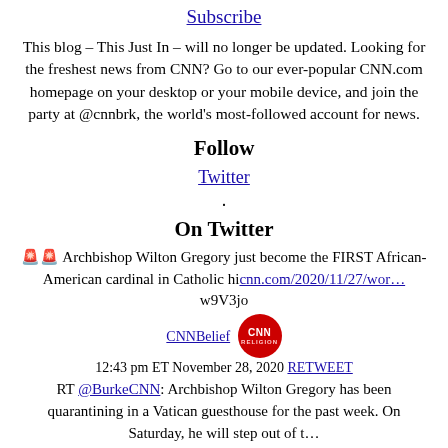Subscribe
This blog – This Just In – will no longer be updated. Looking for the freshest news from CNN? Go to our ever-popular CNN.com homepage on your desktop or your mobile device, and join the party at @cnnbrk, the world's most-followed account for news.
Follow
Twitter
.
On Twitter
🚨🚨 Archbishop Wilton Gregory just become the FIRST African-American cardinal in Catholic hi cnn.com/2020/11/27/wor… w9V3jo
CNNBelief 12:43 pm ET November 28, 2020 RETWEET
RT @BurkeCNN: Archbishop Wilton Gregory has been quarantining in a Vatican guesthouse for the past week. On Saturday, he will step out of t…